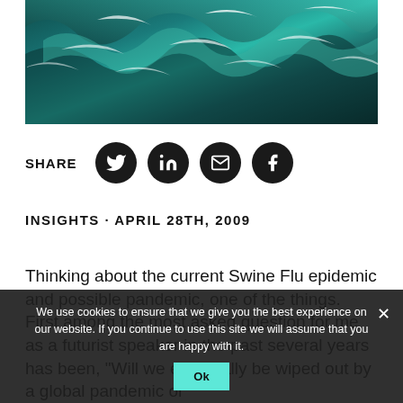[Figure (photo): Aerial view of ocean waves with teal/turquoise water and white foam]
SHARE
[Figure (infographic): Social share icons: Twitter, LinkedIn, Email, Facebook]
INSIGHTS · APRIL 28TH, 2009
Thinking about the current Swine Flu epidemic and possible pandemic, one of the things. First among the most asked question for me as a futurist speaker in the past several years has been, "Will we eventually be wiped out by a global pandemic or
We use cookies to ensure that we give you the best experience on our website. If you continue to use this site we will assume that you are happy with it.